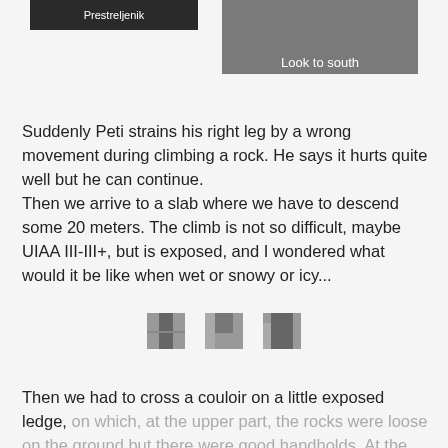[Figure (photo): Dark image with text label 'Prestreljenik' in white on dark background]
[Figure (photo): Rocky cliff or mountain face photo with label 'Look to south' in white]
Suddenly Peti strains his right leg by a wrong movement during climbing a rock. He says it hurts quite well but he can continue. Then we arrive to a slab where we have to descend some 20 meters. The climb is not so difficult, maybe UIAA III-III+, but is exposed, and I wondered what would it be like when wet or snowy or icy...
[Figure (photo): Three small thumbnail photos of mountain/rock scenes]
Then we had to cross a couloir on a little exposed ledge, on which, at the upper part, the rocks were loose on the ground but there were good handholds. At the end we reached the top of Vrh Zlebi, and could take a look at the